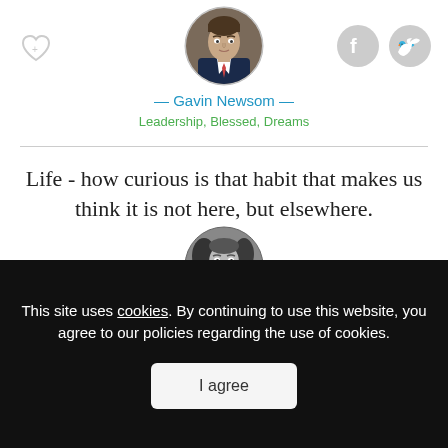[Figure (photo): Circular avatar photo of Gavin Newsom in suit]
— Gavin Newsom —
Leadership, Blessed, Dreams
Life - how curious is that habit that makes us think it is not here, but elsewhere.
[Figure (photo): Circular black and white avatar photo of V. S. Pritchett]
— V. S. Pritchett —
This site uses cookies. By continuing to use this website, you agree to our policies regarding the use of cookies.